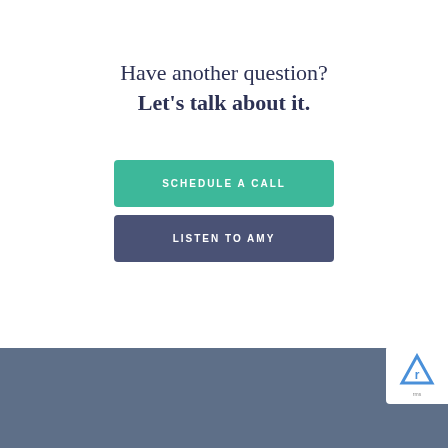Have another question? Let's talk about it.
SCHEDULE A CALL
LISTEN TO AMY
[Figure (other): Dark blue-grey background section at bottom of page with a reCAPTCHA badge visible in the top-right corner]